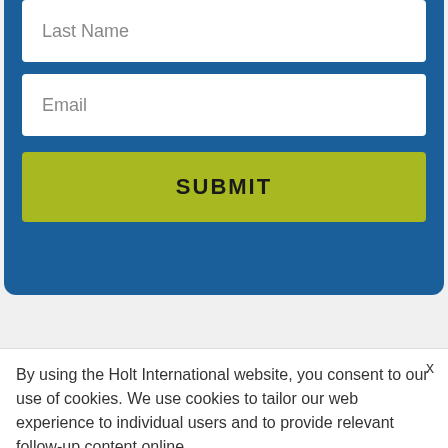[Figure (screenshot): Blue form box with Last Name input field (partially visible at top), Email input field, and a yellow-green SUBMIT button]
Last Name
Email
SUBMIT
X
By using the Holt International website, you consent to our use of cookies. We use cookies to tailor our web experience to individual users and to provide relevant follow-up content online.